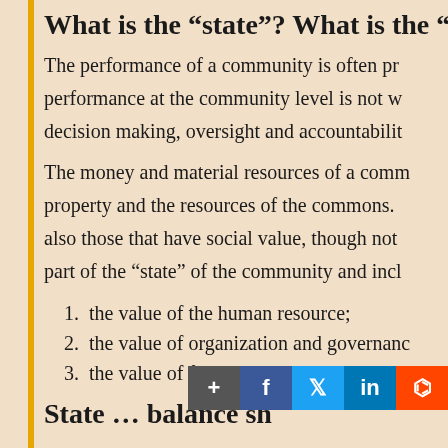What is the “state”? What is the “prog…
The performance of a community is often pr… performance at the community level is not w… decision making, oversight and accountabilit…
The money and material resources of a comm… property and the resources of the commons. … also those that have social value, though not… part of the “state” of the community and incl…
1. the value of the human resource;
2. the value of organization and governanc…
3. the value of future opportunity and pote…
State … balance sh…
The state of the comm…